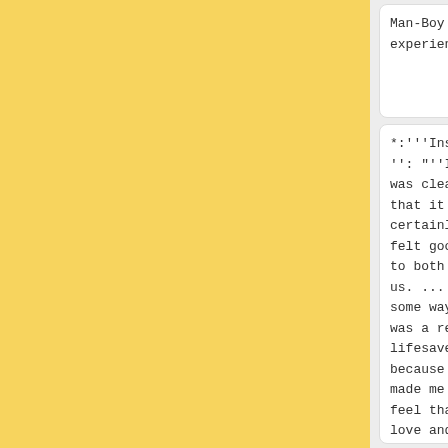Man-Boy sex experiences.
Man-Boy sex experiences.
*:'''Inside'': "''It was clear that it certainly felt good to both of us. ... In some way it was a real lifesaver, because it made me feel that love and affection and closeness and sex
*:'''Inside'': "''It was clear that it certainly felt good to both of us. ... In some way it was a real lifesaver, because it made me feel that love and affection and closeness and sex